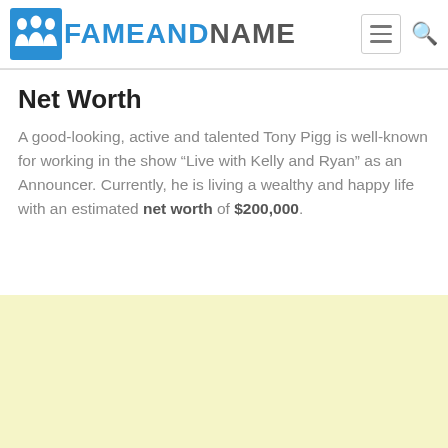FAMEANDNAME
Net Worth
A good-looking, active and talented Tony Pigg is well-known for working in the show “Live with Kelly and Ryan” as an Announcer. Currently, he is living a wealthy and happy life with an estimated net worth of $200,000.
[Figure (other): Light yellow advertisement block at the bottom of the page]